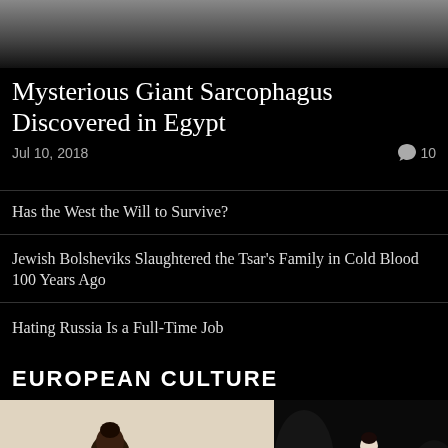[Figure (photo): Top image of a sarcophagus or stone artifact, partial view]
Mysterious Giant Sarcophagus Discovered in Egypt
Jul 10, 2018   💬 10
Has the West the Will to Survive?
Jewish Bolsheviks Slaughtered the Tsar's Family in Cold Blood 100 Years Ago
Hating Russia Is a Full-Time Job
EUROPEAN CULTURE
[Figure (photo): Left: person in an indoor setting]
[Figure (photo): Right: ballet dancer in white costume performing]